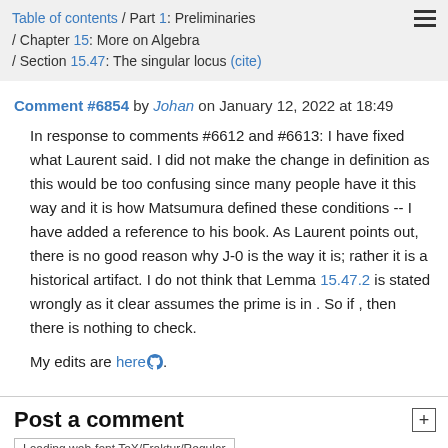Table of contents / Part 1: Preliminaries / Chapter 15: More on Algebra / Section 15.47: The singular locus (cite)
Comment #6854 by Johan on January 12, 2022 at 18:49
In response to comments #6612 and #6613: I have fixed what Laurent said. I did not make the change in definition as this would be too confusing since many people have it this way and it is how Matsumura defined these conditions -- I have added a reference to his book. As Laurent points out, there is no good reason why J-0 is the way it is; rather it is a historical artifact. I do not think that Lemma 15.47.2 is stated wrongly as it clear assumes the prime is in . So if , then there is nothing to check.
My edits are here (GitHub icon).
Post a comment
Loading web-font TeX/Fraktur/Regular